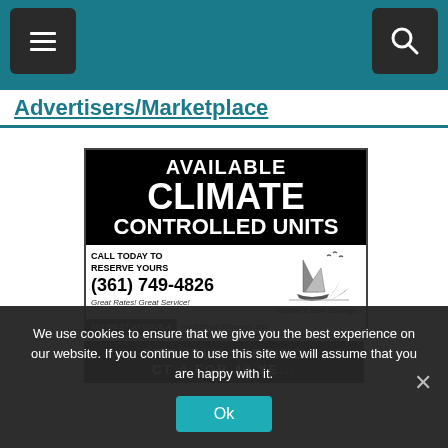Navigation bar with menu and search buttons
Advertisers/Marketplace
[Figure (illustration): Advertisement for Michie's Self-Storage showing available climate controlled units, phone number (361) 749-4826, address 723 West Avenue A, website michiesselfstorage.net]
[Figure (illustration): Partial advertisement showing 'PROUDLY SERVING' text on dark background]
We use cookies to ensure that we give you the best experience on our website. If you continue to use this site we will assume that you are happy with it.